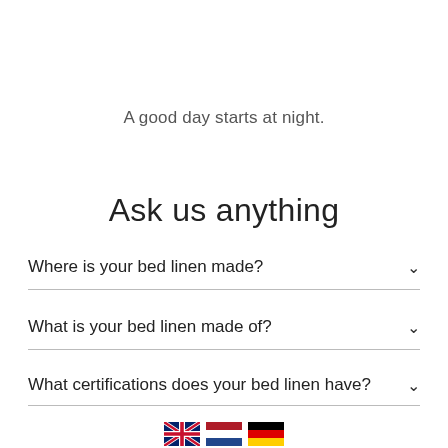A good day starts at night.
Ask us anything
Where is your bed linen made?
What is your bed linen made of?
What certifications does your bed linen have?
[Figure (illustration): Three country flags: UK (Union Jack), Netherlands (red/white/blue horizontal), Germany (black/red/yellow horizontal)]